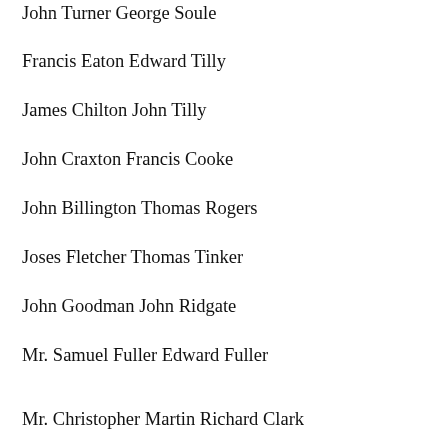John Turner George Soule
Francis Eaton Edward Tilly
James Chilton John Tilly
John Craxton Francis Cooke
John Billington Thomas Rogers
Joses Fletcher Thomas Tinker
John Goodman John Ridgate
Mr. Samuel Fuller Edward Fuller
Mr. Christopher Martin Richard Clark